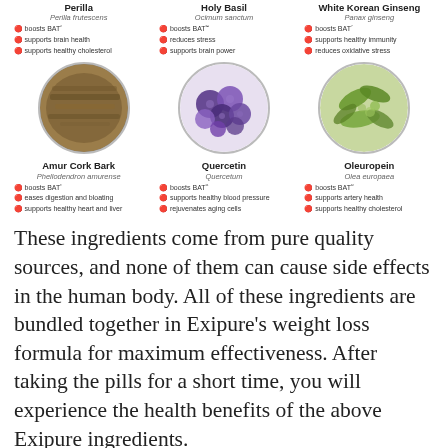Perilla
Perilla frutescens
boosts BAT²
supports brain health
supports healthy cholesterol
Holy Basil
Ocimum sanctum
boosts BAT³⁴
reduces stress
supports brain power
White Korean Ginseng
Panax ginseng
boosts BAT⁷
supports healthy immunity
reduces oxidative stress
[Figure (photo): Three circular photos of ingredients: Amur Cork Bark (bark/plant), Quercetin (berries), Oleuropein (olive leaves)]
Amur Cork Bark
Phellodendron amurense
boosts BAT⁸
eases digestion and bloating
supports healthy heart and liver
Quercetin
Quercetum
boosts BAT¹¹
supports healthy blood pressure
rejuvenates aging cells
Oleuropein
Olea europaea
boosts BAT¹²
supports artery health
supports healthy cholesterol
These ingredients come from pure quality sources, and none of them can cause side effects in the human body. All of these ingredients are bundled together in Exipure's weight loss formula for maximum effectiveness. After taking the pills for a short time, you will experience the health benefits of the above Exipure ingredients.
How positive it could be done on Exipure